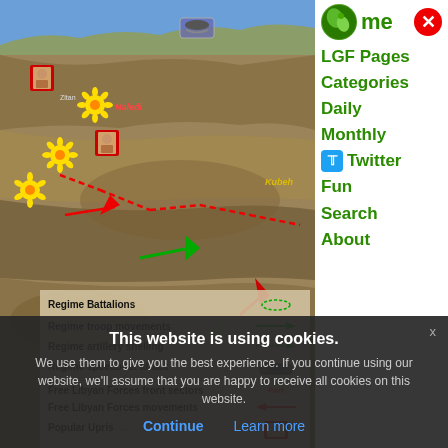[Figure (map): Satellite/terrain map of coastal Libya showing military movements. Map displays coastline (blue water at top), desert terrain (brown). Overlaid with military symbols: red dashed lines indicating front lines, green arrows for Free Libyan Forces movements, red arrows for regime movements, yellow sunflower icons, person portrait icons, and a legend box in the lower left.]
| Legend Item | Symbol |
| --- | --- |
| Regime Battalions | dashed circle icon |
| Regime troop movements | green arrow |
| Regime artillery shelling | dashed arrow |
| Regime speedboat attack | speedboat icon |
| Free Libyan Forces front sectors | Port label |
| Free Libyan Forces movements | red arrow |
| Popular Upris[ing] | person icon |
| NATO air & na[val strikes] | aircraft icon |
This website is using cookies.
We use them to give you the best experience. If you continue using our website, we'll assume that you are happy to receive all cookies on this website.
Continue   Learn more